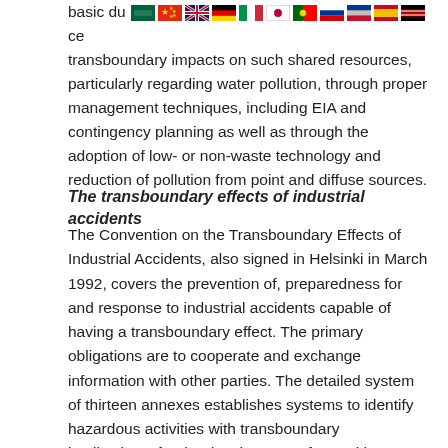basic du[flags]ce transboundary impacts on such shared resources, particularly regarding water pollution, through proper management techniques, including EIA and contingency planning as well as through the adoption of low- or non-waste technology and reduction of pollution from point and diffuse sources.
The transboundary effects of industrial accidents
The Convention on the Transboundary Effects of Industrial Accidents, also signed in Helsinki in March 1992, covers the prevention of, preparedness for and response to industrial accidents capable of having a transboundary effect. The primary obligations are to cooperate and exchange information with other parties. The detailed system of thirteen annexes establishes systems to identify hazardous activities with transboundary implications, for the development of EIA with a transboundary dimension (in accordance with the 1991 Espoo Convention, above) for decisions on siting of potentially hazardous activities. It also provides for emergency